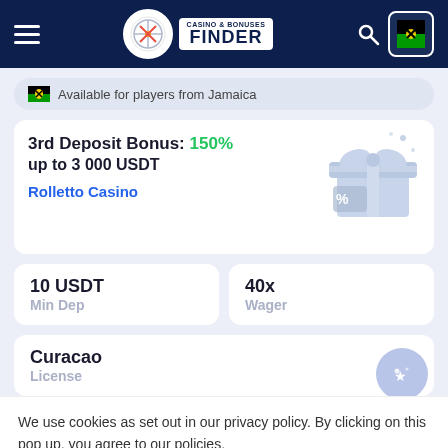Casino & Bonuses Finder
Available for players from Jamaica
3rd Deposit Bonus: 150% up to 3 000 USDT
Rolletto Casino
10 USDT
Min Dep
40x
Wager
Curacao
License
We use cookies as set out in our privacy policy. By clicking on this pop up, you agree to our policies.
Read the privacy policy
It's OK For Me